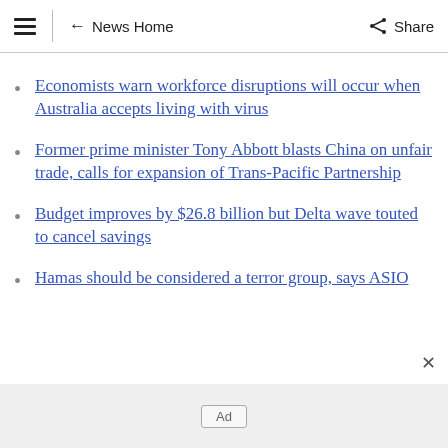≡ ← News Home  Share
Economists warn workforce disruptions will occur when Australia accepts living with virus
Former prime minister Tony Abbott blasts China on unfair trade, calls for expansion of Trans-Pacific Partnership
Budget improves by $26.8 billion but Delta wave touted to cancel savings
Hamas should be considered a terror group, says ASIO